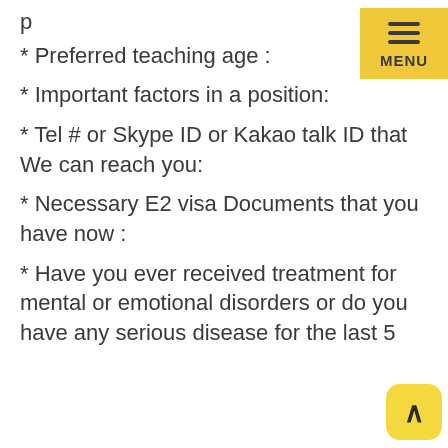* Preferred teaching age :
* Important factors in a position:
* Tel # or Skype ID or Kakao talk ID that We can reach you:
* Necessary E2 visa Documents that you have now :
* Have you ever received treatment for mental or emotional disorders or do you have any serious disease for the last 5